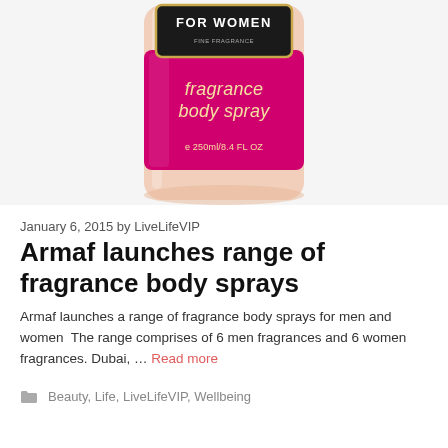[Figure (photo): A fragrance body spray bottle for women with a magenta/pink label reading 'fragrance body spray' and 'FOR WOMEN', 250ml/8.4 FL OZ, with a translucent pink/peach glass bottle body.]
January 6, 2015 by LiveLifeVIP
Armaf launches range of fragrance body sprays
Armaf launches a range of fragrance body sprays for men and women  The range comprises of 6 men fragrances and 6 women fragrances. Dubai, … Read more
Beauty, Life, LiveLifeVIP, Wellbeing